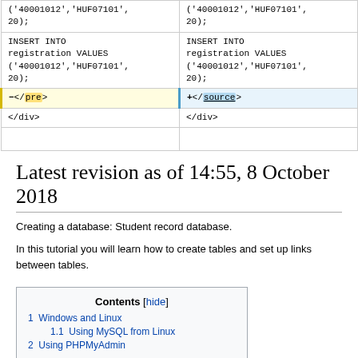| (left diff) | (right diff) |
| --- | --- |
| ('40001012','HUF07101', 20); | ('40001012','HUF07101', 20); |
| INSERT INTO registration VALUES ('40001012','HUF07101', 20); | INSERT INTO registration VALUES ('40001012','HUF07101', 20); |
| - </pre> | + </source> |
| </div> | </div> |
|  |  |
Latest revision as of 14:55, 8 October 2018
Creating a database: Student record database.
In this tutorial you will learn how to create tables and set up links between tables.
Contents [hide]
1 Windows and Linux
  1.1 Using MySQL from Linux
2 Using PHPMyAdmin